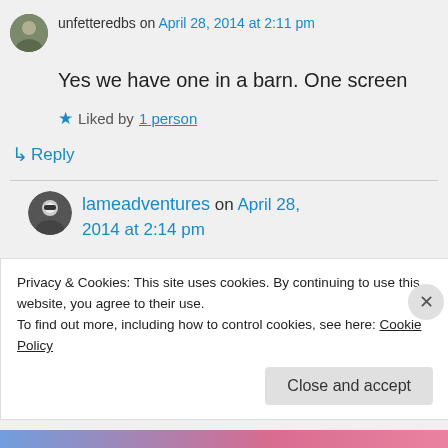unfetteredbs on April 28, 2014 at 2:11 pm
Yes we have one in a barn. One screen
★ Liked by 1 person
↳ Reply
lameadventures on April 28, 2014 at 2:14 pm
Privacy & Cookies: This site uses cookies. By continuing to use this website, you agree to their use. To find out more, including how to control cookies, see here: Cookie Policy